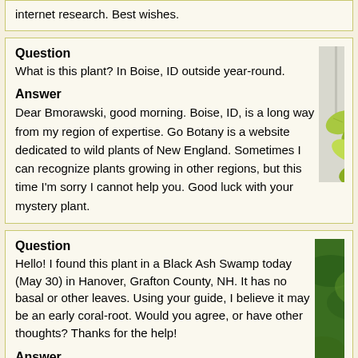internet research. Best wishes.
Question
What is this plant? In Boise, ID outside year-round.
Answer
Dear Bmorawski, good morning. Boise, ID, is a long way from my region of expertise. Go Botany is a website dedicated to wild plants of New England. Sometimes I can recognize plants growing in other regions, but this time I'm sorry I cannot help you. Good luck with your mystery plant.
[Figure (photo): Photo of a green leafy plant with yellow-green foliage growing near a white wall or fence]
Question
Hello! I found this plant in a Black Ash Swamp today (May 30) in Hanover, Grafton County, NH. It has no basal or other leaves. Using your guide, I believe it may be an early coral-root. Would you agree, or have other thoughts? Thanks for the help!
[Figure (photo): Photo of a slender green plant with small flowers, likely an orchid, growing in a swamp]
Answer
Dear kasmus.nh, yes, this plant fits well with Corallorhiza trifda. This species is frequent in swamps (and other locations, like seeps and streamsides where hydric soils are present for at least part of the year)